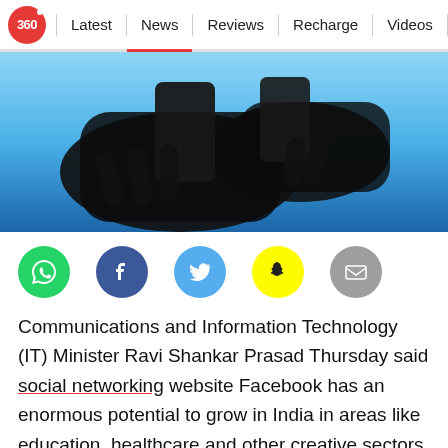360 | Latest | News | Reviews | Recharge | Videos | M
[Figure (photo): Silhouette of hands using a smartphone against a blue background]
[Figure (infographic): Social sharing icons: WhatsApp (green), Facebook (blue), Twitter (light blue), Snapchat (yellow), Email (grey)]
Communications and Information Technology (IT) Minister Ravi Shankar Prasad Thursday said social networking website Facebook has an enormous potential to grow in India in areas like education, healthcare and other creative sectors.
"We discussed a lot. Facebook has a very powerful presence in India, next only to US. There is enormous scope for expansion of Facebook, which is already a